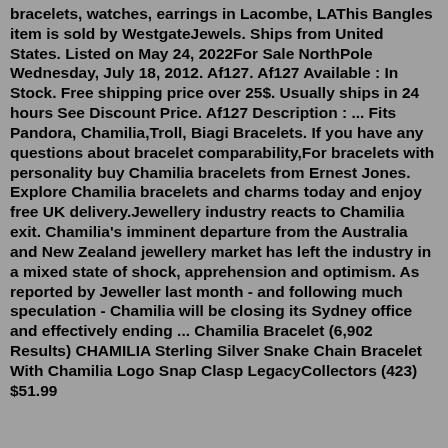bracelets, watches, earrings in Lacombe, LAThis Bangles item is sold by WestgateJewels. Ships from United States. Listed on May 24, 2022For Sale NorthPole Wednesday, July 18, 2012. Af127. Af127 Available : In Stock. Free shipping price over 25$. Usually ships in 24 hours See Discount Price. Af127 Description : ... Fits Pandora, Chamilia,Troll, Biagi Bracelets. If you have any questions about bracelet comparability,For bracelets with personality buy Chamilia bracelets from Ernest Jones. Explore Chamilia bracelets and charms today and enjoy free UK delivery.Jewellery industry reacts to Chamilia exit. Chamilia's imminent departure from the Australia and New Zealand jewellery market has left the industry in a mixed state of shock, apprehension and optimism. As reported by Jeweller last month - and following much speculation - Chamilia will be closing its Sydney office and effectively ending ... Chamilia Bracelet (6,902 Results) CHAMILIA Sterling Silver Snake Chain Bracelet With Chamilia Logo Snap Clasp LegacyCollectors (423) $51.99